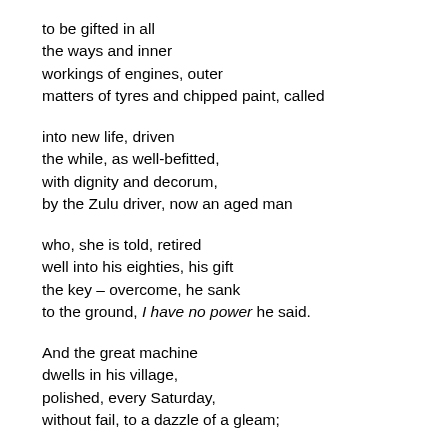to be gifted in all
the ways and inner
workings of engines, outer
matters of tyres and chipped paint, called

into new life, driven
the while, as well-befitted,
with dignity and decorum,
by the Zulu driver, now an aged man

who, she is told, retired
well into his eighties, his gift
the key – overcome, he sank
to the ground, I have no power he said.

And the great machine
dwells in his village,
polished, every Saturday,
without fail, to a dazzle of a gleam;

she hears how the whole